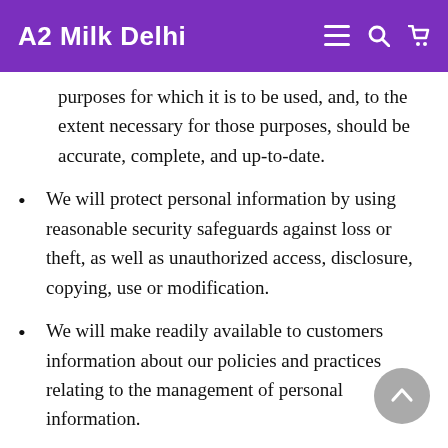A2 Milk Delhi
purposes for which it is to be used, and, to the extent necessary for those purposes, should be accurate, complete, and up-to-date.
We will protect personal information by using reasonable security safeguards against loss or theft, as well as unauthorized access, disclosure, copying, use or modification.
We will make readily available to customers information about our policies and practices relating to the management of personal information.